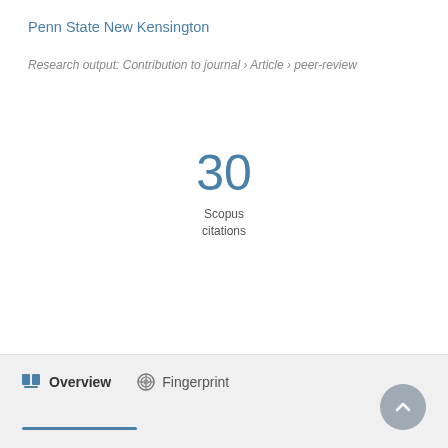Penn State New Kensington
Research output: Contribution to journal › Article › peer-review
30 Scopus citations
Overview   Fingerprint